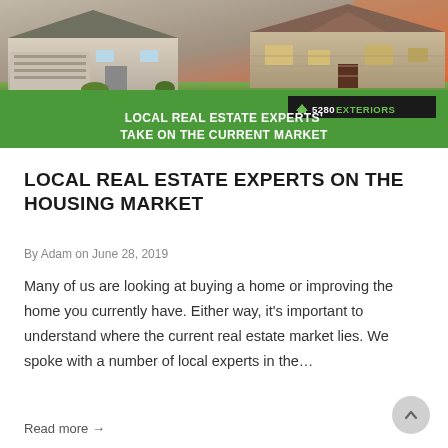[Figure (photo): Banner image showing two houses — a suburban home with garage on the left and a stone/brick house on the right with a sunset sky, overlaid with a green bar containing the text 'LOCAL REAL ESTATE EXPERTS' TAKE ON THE CURRENT MARKET' and a logo '5280 EXTERIORS']
LOCAL REAL ESTATE EXPERTS ON THE HOUSING MARKET
By Adam on June 28, 2019
Many of us are looking at buying a home or improving the home you currently have. Either way, it's important to understand where the current real estate market lies. We spoke with a number of local experts in the…
Read more →